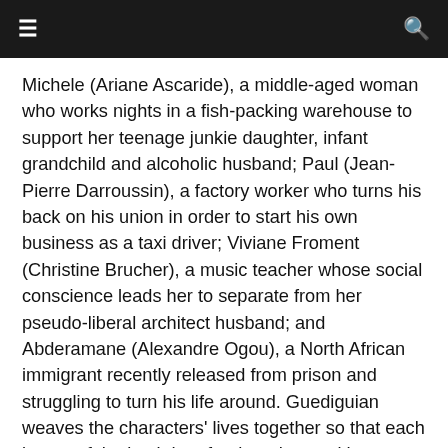≡  🔍
Michele (Ariane Ascaride), a middle-aged woman who works nights in a fish-packing warehouse to support her teenage junkie daughter, infant grandchild and alcoholic husband; Paul (Jean-Pierre Darroussin), a factory worker who turns his back on his union in order to start his own business as a taxi driver; Viviane Froment (Christine Brucher), a music teacher whose social conscience leads her to separate from her pseudo-liberal architect husband; and Abderamane (Alexandre Ogou), a North African immigrant recently released from prison and struggling to turn his life around. Guediguian weaves the characters' lives together so that each is part of the backdrop for the others, with some of them only tangentially connected — Abderamane serves lunch to Michele and her daughter one day in his job as a waiter — while other relationships, defined by blood or lust, are a collision course of agendas and intentions. The film's power is derived from its poetic braiding of the personal and the large-scale political. Guediguian and his actors, all of whom are note-perfect, make dialogue that should fall with a thud breathe organically, as when Viviane seethes to her husband, "I prefer